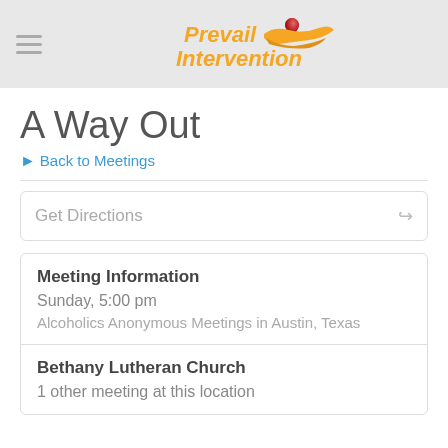Prevail Intervention
A Way Out
> Back to Meetings
Get Directions
Meeting Information
Sunday, 5:00 pm
Alcoholics Anonymous Meetings in Austin, Texas
Bethany Lutheran Church
1 other meeting at this location